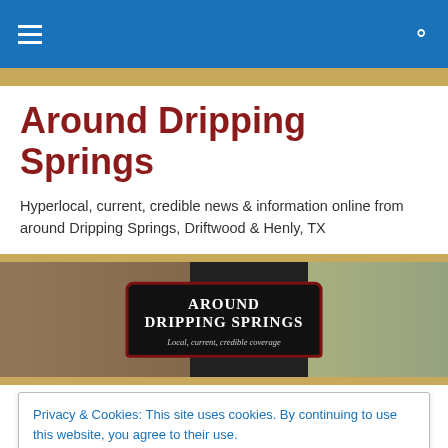Around Dripping Springs - navigation bar
Around Dripping Springs
Hyperlocal, current, credible news & information online from around Dripping Springs, Driftwood & Henly, TX
[Figure (illustration): Website banner image showing historical sepia photos on the left, the Around Dripping Springs sign in the center on dark background with red border reading 'Around Dripping Springs - Local, current, credible coverage', and a color family photo on the right]
Privacy & Cookies: This site uses cookies. By continuing to use this website, you agree to their use.
To find out more, including how to control cookies, see here: Cookie Policy
Close and accept